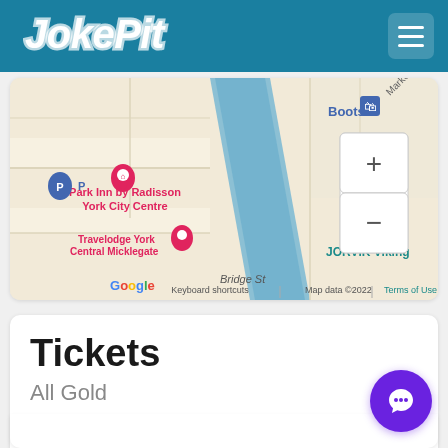JokePit
[Figure (map): Google Maps screenshot showing York city centre area with landmarks including Park Inn by Radisson York City Centre, Travelodge York Central Micklegate, Boots, and JORVIK Viking Centre. Blue river visible. Map data ©2022. Zoom controls (+/-) visible on right side.]
Tickets
All Gold
Display your ticket/s upon arrival, we'll email them to you. Enjoy the show.
£13.50
Quantity